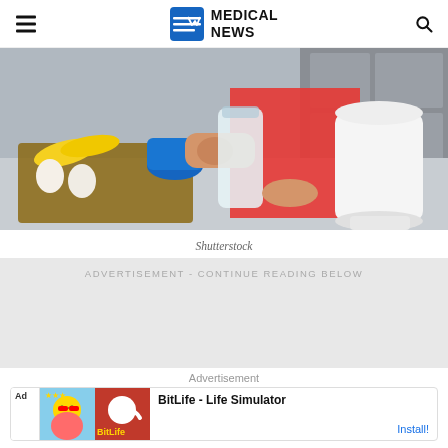Medical News
[Figure (photo): Person in red shirt at kitchen counter with protein shaker bottle, bananas, eggs, and a large white supplement container]
Shutterstock
ADVERTISEMENT - CONTINUE READING BELOW
Advertisement
[Figure (screenshot): BitLife - Life Simulator app advertisement with cartoon character and red background with sperm logo]